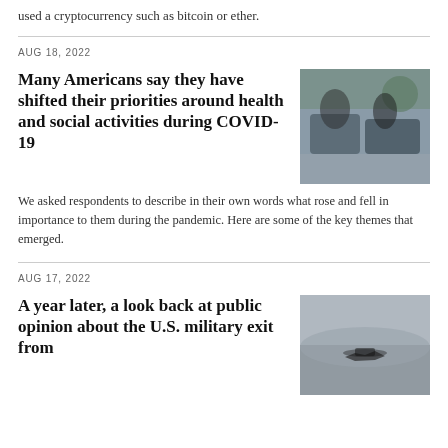used a cryptocurrency such as bitcoin or ether.
AUG 18, 2022
Many Americans say they have shifted their priorities around health and social activities during COVID-19
[Figure (photo): People sitting outdoors at a table, wearing masks, during COVID-19 pandemic]
We asked respondents to describe in their own words what rose and fell in importance to them during the pandemic. Here are some of the key themes that emerged.
AUG 17, 2022
A year later, a look back at public opinion about the U.S. military exit from
[Figure (photo): Military aircraft silhouetted against a hazy sky]